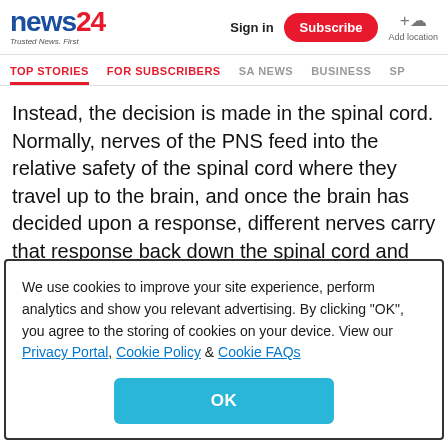news24 | Trusted News. First | Sign in | Subscribe | Add location
TOP STORIES | FOR SUBSCRIBERS | SA NEWS | BUSINESS | SP
Instead, the decision is made in the spinal cord. Normally, nerves of the PNS feed into the relative safety of the spinal cord where they travel up to the brain, and once the brain has decided upon a response, different nerves carry that response back down the spinal cord and out to the relevant area. In the case of the reflex arc, however, the nerve goes into the spinal cord and the stimulus is of such magnitude
We use cookies to improve your site experience, perform analytics and show you relevant advertising. By clicking "OK", you agree to the storing of cookies on your device. View our Privacy Portal, Cookie Policy & Cookie FAQs
OK